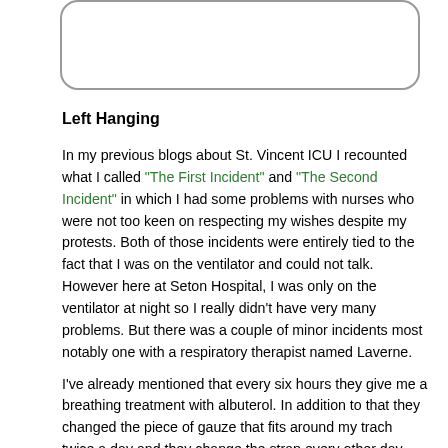[Figure (other): Rounded rectangle box at top of page, partially visible, empty interior]
Left Hanging
In my previous blogs about St. Vincent ICU I recounted what I called “The First Incident” and “The Second Incident” in which I had some problems with nurses who were not too keen on respecting my wishes despite my protests. Both of those incidents were entirely tied to the fact that I was on the ventilator and could not talk. However here at Seton Hospital, I was only on the ventilator at night so I really didn’t have very many problems. But there was a couple of minor incidents most notably one with a respiratory therapist named Laverne.
I’ve already mentioned that every six hours they give me a breathing treatment with albuterol. In addition to that they changed the piece of gauze that fits around my trach twice a day and they change the strap every other day. During the breathing treatments, the hose is connected to the trach mask but they have to remove the talking valve so that the mist can get in your lungs easily. Usually they come in, start the treatment which takes